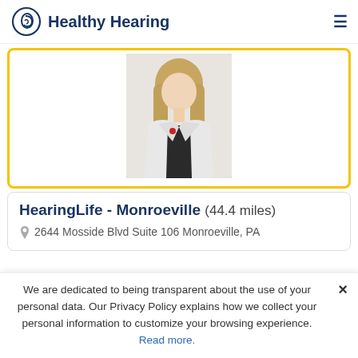Healthy Hearing
[Figure (photo): Portrait photo of a woman with blonde hair wearing a white lab coat over a dark top, cropped at mid-body]
HearingLife - Monroeville (44.4 miles)
2644 Mosside Blvd Suite 106 Monroeville, PA
We are dedicated to being transparent about the use of your personal data. Our Privacy Policy explains how we collect your personal information to customize your browsing experience. Read more.